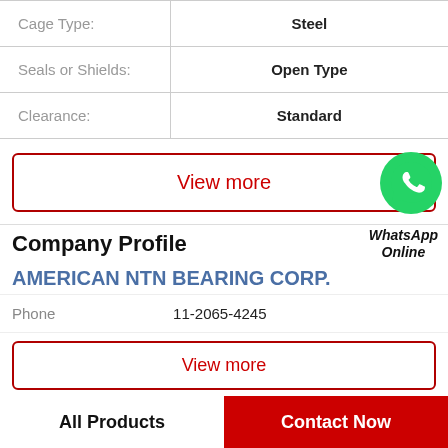| Property | Value |
| --- | --- |
| Cage Type: | Steel |
| Seals or Shields: | Open Type |
| Clearance: | Standard |
View more
[Figure (logo): WhatsApp green circle icon with phone handset]
WhatsApp Online
Company Profile
AMERICAN NTN BEARING CORP.
Phone   11-2065-4245
View more
All Products
Contact Now